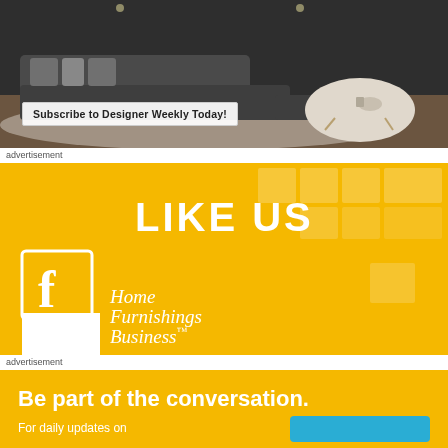[Figure (photo): Advertisement banner showing a modern living room with dark gray sectional sofa, white oval coffee table, and a 'Subscribe to Designer Weekly Today!' button overlay]
advertisement
[Figure (infographic): Yellow advertisement for Home Furnishings Business Facebook page with 'LIKE US' text, Facebook icon, and Home Furnishings Business logo]
advertisement
[Figure (infographic): Yellow advertisement with text 'Be part of the conversation.' and 'For daily updates on' with a blue button, for Home Furnishings Business]